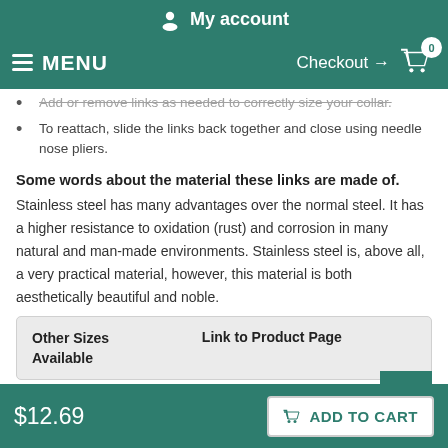My account
MENU   Checkout → 0
Add or remove links as needed to correctly size your collar.
To reattach, slide the links back together and close using needle nose pliers.
Some words about the material these links are made of.
Stainless steel has many advantages over the normal steel. It has a higher resistance to oxidation (rust) and corrosion in many natural and man-made environments. Stainless steel is, above all, a very practical material, however, this material is both aesthetically beautiful and noble.
| Other Sizes Available | Link to Product Page |
| --- | --- |
$12.69   ADD TO CART